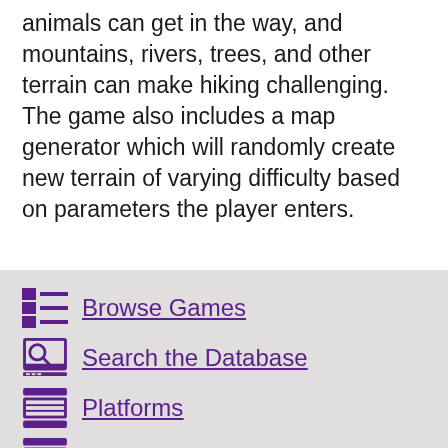animals can get in the way, and mountains, rivers, trees, and other terrain can make hiking challenging. The game also includes a map generator which will randomly create new terrain of varying difficulty based on parameters the player enters.
Browse Games
Search the Database
Platforms
News